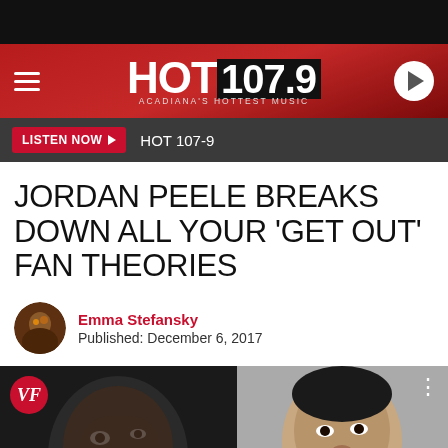[Figure (screenshot): Black top bar]
HOT 107.9 — ACADIANA'S HOTTEST MUSIC
LISTEN NOW ▶  HOT 107-9
JORDAN PEELE BREAKS DOWN ALL YOUR 'GET OUT' FAN THEORIES
Emma Stefansky
Published: December 6, 2017
[Figure (screenshot): Video thumbnail showing Jordan Peele Breaks Down "Get Out" Fa... with VF badge and two person photos]